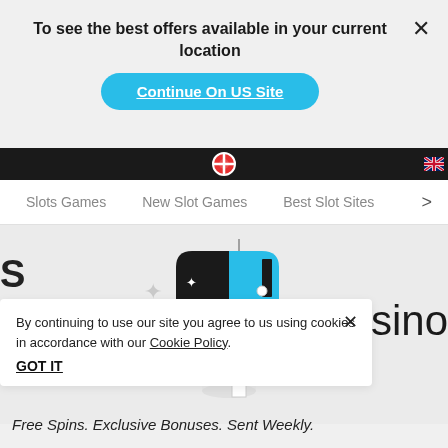To see the best offers available in your current location
Continue On US Site
Slots Games   New Slot Games   Best Slot Sites >
[Figure (illustration): Stylized mailbox illustration with black and cyan top half, white capsule bottom, on light gray background with sparkle decorations]
By continuing to use our site you agree to us using cookies in accordance with our Cookie Policy.
GOT IT
N Casino
Free Spins. Exclusive Bonuses. Sent Weekly.